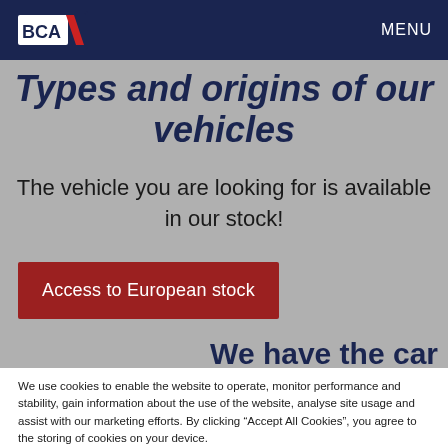BCA | MENU
Types and origins of our vehicles
The vehicle you are looking for is available in our stock!
Access to European stock
We have the car
We use cookies to enable the website to operate, monitor performance and stability, gain information about the use of the website, analyse site usage and assist with our marketing efforts. By clicking “Accept All Cookies”, you agree to the storing of cookies on your device.